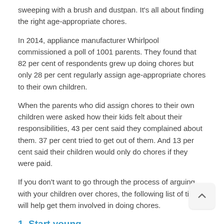sweeping with a brush and dustpan. It's all about finding the right age-appropriate chores.
In 2014, appliance manufacturer Whirlpool commissioned a poll of 1001 parents. They found that 82 per cent of respondents grew up doing chores but only 28 per cent regularly assign age-appropriate chores to their own children.
When the parents who did assign chores to their own children were asked how their kids felt about their responsibilities, 43 per cent said they complained about them. 37 per cent tried to get out of them. And 13 per cent said their children would only do chores if they were paid.
If you don't want to go through the process of arguing with your children over chores, the following list of tips will help get them involved in doing chores.
1. Start young